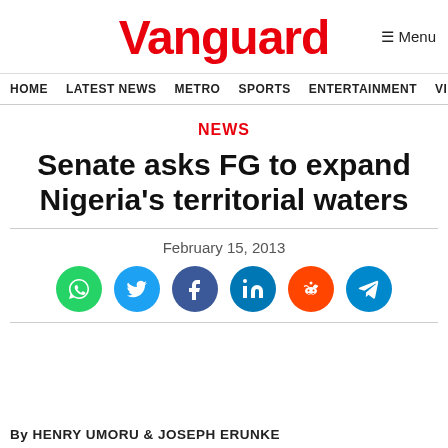Vanguard
HOME  LATEST NEWS  METRO  SPORTS  ENTERTAINMENT  VIDEOS
NEWS
Senate asks FG to expand Nigeria's territorial waters
February 15, 2013
[Figure (infographic): Social share buttons: WhatsApp (green), Twitter (light blue), Facebook (dark blue), LinkedIn (blue), Reddit (orange), Telegram (blue)]
By HENRY UMORU & JOSEPH ERUNKE